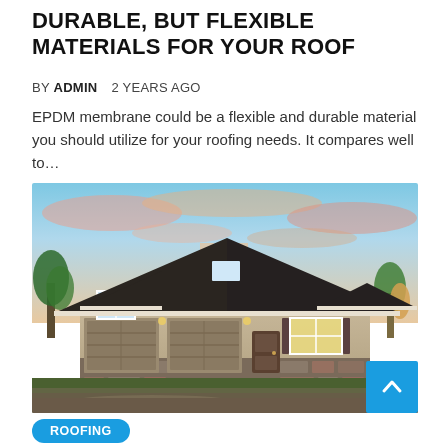DURABLE, BUT FLEXIBLE MATERIALS FOR YOUR ROOF
BY ADMIN   2 YEARS AGO
EPDM membrane could be a flexible and durable material you should utilize for your roofing needs. It compares well to…
[Figure (photo): Exterior photo of a large craftsman-style house with dark shingled roof, two-car garage, stone accents, warm interior lighting, and a colorful pink and blue sunset sky reflected in the wet driveway]
ROOFING